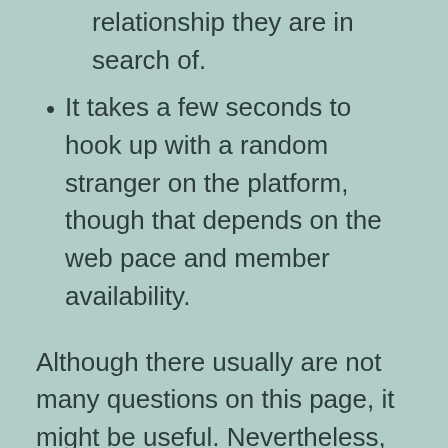relationship they are in search of.
It takes a few seconds to hook up with a random stranger on the platform, though that depends on the web pace and member availability.
Although there usually are not many questions on this page, it might be useful. Nevertheless, you can see, other sites will not suit you higher in case you are on the lookout for digital relationship. Another Tinder-like app has nearly the identical pack of advantages and disadvantages. Should you have any questions, i can use these when needed